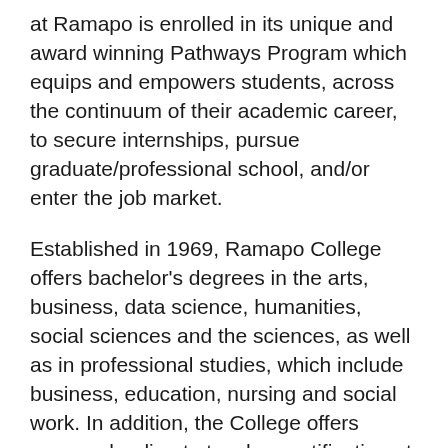at Ramapo is enrolled in its unique and award winning Pathways Program which equips and empowers students, across the continuum of their academic career, to secure internships, pursue graduate/professional school, and/or enter the job market.
Established in 1969, Ramapo College offers bachelor's degrees in the arts, business, data science, humanities, social sciences and the sciences, as well as in professional studies, which include business, education, nursing and social work. In addition, the College offers courses leading to teacher certification at the elementary and secondary levels, and offers graduate programs leading to master's degrees in Accounting, Applied Mathematics, Business Administration, Contemporary Instructional Design, Computer Science, Creative Music Technology, Data Science, Educational Leadership, Nursing, Social Work and Special Education, as well as a Doctor of